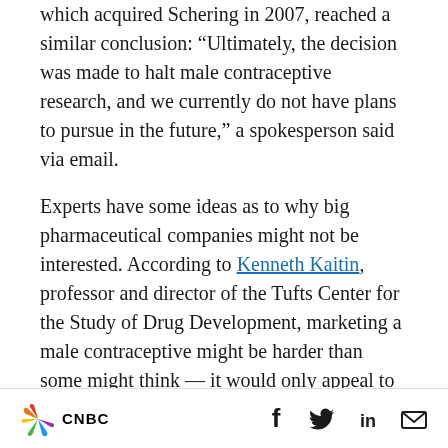which acquired Schering in 2007, reached a similar conclusion: “Ultimately, the decision was made to halt male contraceptive research, and we currently do not have plans to pursue in the future,” a spokesperson said via email.
Experts have some ideas as to why big pharmaceutical companies might not be interested. According to Kenneth Kaitin, professor and director of the Tufts Center for the Study of Drug Development, marketing a male contraceptive might be harder than some might think — it would only appeal to men in long-term relationships with a partner of...
CNBC | social icons: Facebook, Twitter, LinkedIn, Email